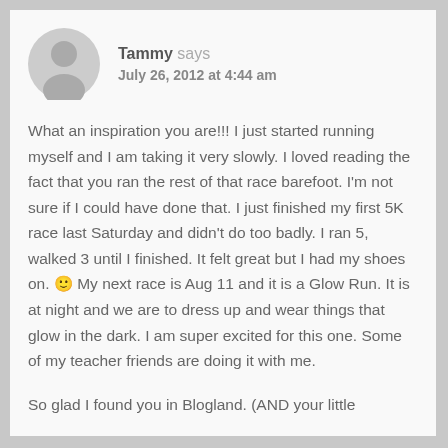[Figure (illustration): Generic gray user avatar icon (silhouette of a person in a circle)]
Tammy says
July 26, 2012 at 4:44 am
What an inspiration you are!!! I just started running myself and I am taking it very slowly. I loved reading the fact that you ran the rest of that race barefoot. I'm not sure if I could have done that. I just finished my first 5K race last Saturday and didn't do too badly. I ran 5, walked 3 until I finished. It felt great but I had my shoes on. 🙂 My next race is Aug 11 and it is a Glow Run. It is at night and we are to dress up and wear things that glow in the dark. I am super excited for this one. Some of my teacher friends are doing it with me.
So glad I found you in Blogland. (AND your little